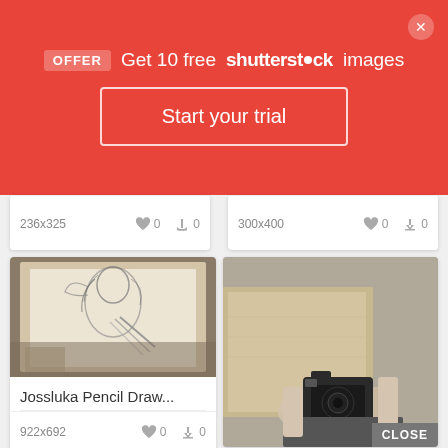OFFER Get 10 free shutterstock images
Start your trial
236x325 ♥ 0 ⬇ 0
300x400 ♥ 0 ⬇ 0
[Figure (illustration): Pencil drawing of a woman with flowing hair and pencils]
Jossluka Pencil Draw...
922x692 ♥ 0 ⬇ 0
[Figure (photo): Person holding a DSLR camera up to their face, black and white / desaturated photo]
CLOSE